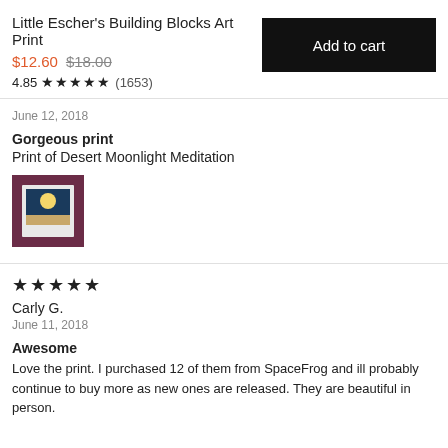Little Escher's Building Blocks Art Print
$12.60 $18.00
4.85 ★★★★★ (1653)
Add to cart
June 12, 2018
Gorgeous print
Print of Desert Moonlight Meditation
[Figure (photo): Small framed art print showing a desert moonlight meditation scene, displayed on a dark red/burgundy background]
★★★★★
Carly G.
June 11, 2018
Awesome
Love the print. I purchased 12 of them from SpaceFrog and ill probably continue to buy more as new ones are released. They are beautiful in person.